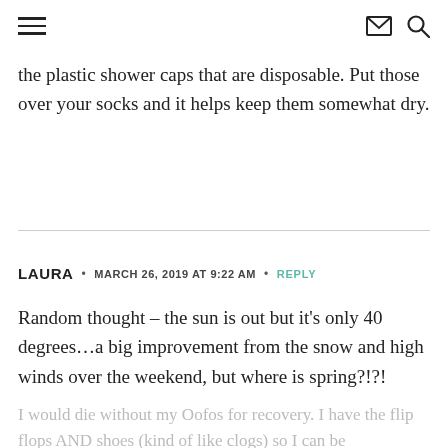≡  ✉ 🔍
the plastic shower caps that are disposable. Put those over your socks and it helps keep them somewhat dry.
LAURA · MARCH 26, 2019 AT 9:22 AM · REPLY
Random thought – the sun is out but it's only 40 degrees…a big improvement from the snow and high winds over the weekend, but where is spring?!?!
I would die without my Oofos for recovery. I have the flip flops AND shoes (kind of like clogs) so I can be